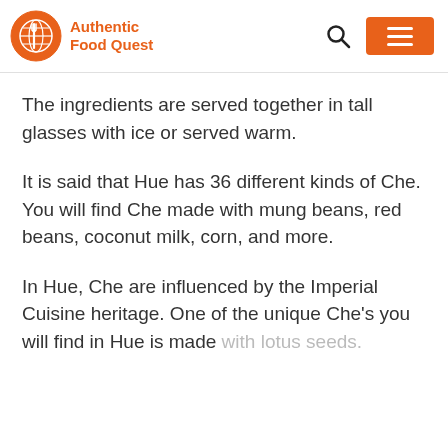Authentic Food Quest
The ingredients are served together in tall glasses with ice or served warm.
It is said that Hue has 36 different kinds of Che. You will find Che made with mung beans, red beans, coconut milk, corn, and more.
In Hue, Che are influenced by the Imperial Cuisine heritage. One of the unique Che’s you will find in Hue is made with lotus seeds.